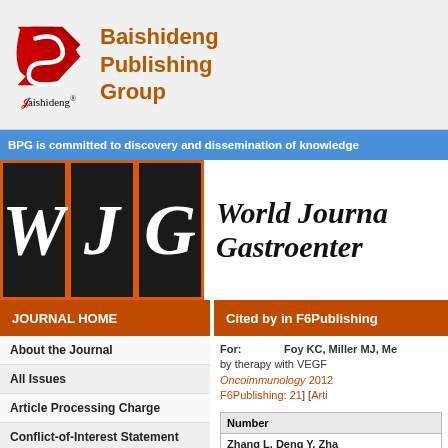[Figure (logo): Baishideng Publishing Group logo with red stylized B icon and brand name]
Baishideng Publishing Group
BPG is committed to discovery and dissemination of knowledge
[Figure (logo): World Journal of Gastroenterology banner with WJG letters in black boxes on orange background]
JOURNAL HOME
Cited by in F6Publishing
About the Journal
All Issues
Article Processing Charge
Conflict-of-Interest Statement
Contact Us
Copyright License Agreement
For: Foy KC, Miller MJ, Me... by therapy with VEGF... Oncoimmunology 2012... F6Publishing: 21] [Artic...
| Number |
| --- |
| Zhang L, Deng Y, Zha... Angiogenesis Inhibitio... |